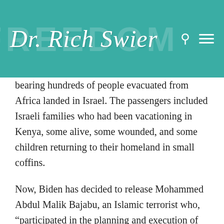Dr. Rich Swier
bearing hundreds of people evacuated from Africa landed in Israel. The passengers included Israeli families who had been vacationing in Kenya, some alive, some wounded, and some children returning to their homeland in small coffins.
Now, Biden has decided to release Mohammed Abdul Malik Bajabu, an Islamic terrorist who, “participated in the planning and execution of the terrorist attacks”, from Guantanamo Bay..
2002 had been a bad year in Israel. 457 Israelis were murdered by terrorists in one of the worst